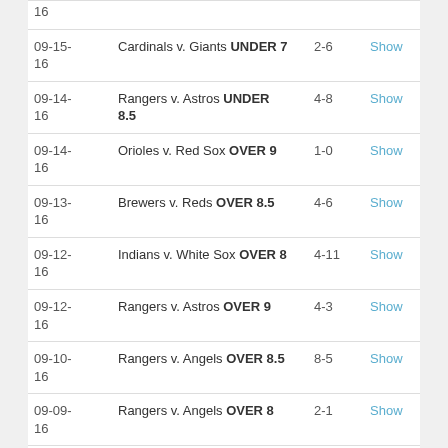| Date | Game | Score | Action |
| --- | --- | --- | --- |
| 16 |  |  |  |
| 09-15-16 | Cardinals v. Giants UNDER 7 | 2-6 | Show |
| 09-14-16 | Rangers v. Astros UNDER 8.5 | 4-8 | Show |
| 09-14-16 | Orioles v. Red Sox OVER 9 | 1-0 | Show |
| 09-13-16 | Brewers v. Reds OVER 8.5 | 4-6 | Show |
| 09-12-16 | Indians v. White Sox OVER 8 | 4-11 | Show |
| 09-12-16 | Rangers v. Astros OVER 9 | 4-3 | Show |
| 09-10-16 | Rangers v. Angels OVER 8.5 | 8-5 | Show |
| 09-09-16 | Rangers v. Angels OVER 8 | 2-1 | Show |